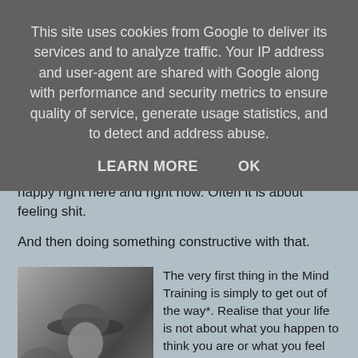This site uses cookies from Google to deliver its services and to analyze traffic. Your IP address and user-agent are shared with Google along with performance and security metrics to ensure quality of service, generate usage statistics, and to detect and address abuse.
LEARN MORE   OK
practice of the dharma is not always about being happy right here and right now. Often it is about feeling shit.
And then doing something constructive with that.
[Figure (photo): Black and white photograph of a person wearing a hat, outdoors, with foliage in the background.]
The very first thing in the Mind Training is simply to get out of the way*. Realise that your life is not about what you happen to think you are or what you feel you want. Usually we spend incredible amounts of time keeping our emotional slacks from sliding down our thighs, becoming too tired to treat ourselves and the people around as the precious, vibrant jewels of life and awareness we are.